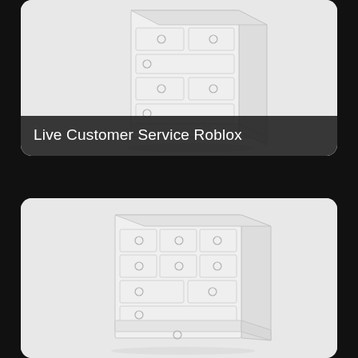[Figure (illustration): White dresser with multiple drawers and circular handles, slightly angled perspective view, light gray background]
Live Customer Service Roblox
[Figure (illustration): White dresser with multiple drawers and circular handles, front-facing perspective view, light gray background]